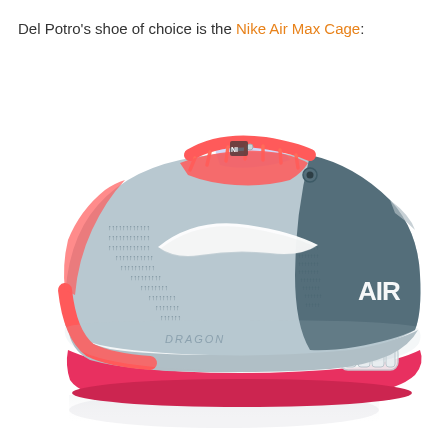Del Potro's shoe of choice is the Nike Air Max Cage:
[Figure (photo): Nike Air Max Cage tennis shoe in coral/salmon red and steel grey colorway with white Nike swoosh logo, 'DRAGON' text on midsole, 'AIR' text on heel, coral laces, Air Max bubble cushioning unit visible on heel, photographed on white background with reflection below]